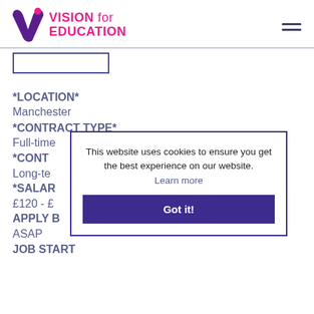VISION for EDUCATION
[Figure (logo): Vision for Education logo with purple V icon and pink text]
*LOCATION*
Manchester
*CONTRACT TYPE*
Full-time
*CONT[RACT DURATION]*
Long-te[rm]
*SALAR[Y]*
£120 - £[...]
APPLY B[Y]
ASAP
JOB START
This website uses cookies to ensure you get the best experience on our website. Learn more